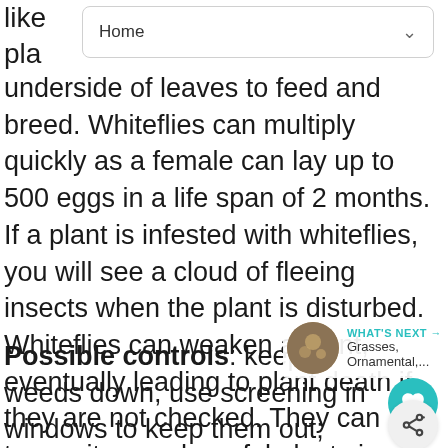Home
underside of leaves to feed and breed. Whiteflies can multiply quickly as a female can lay up to 500 eggs in a life span of 2 months. If a plant is infested with whiteflies, you will see a cloud of fleeing insects when the plant is disturbed. Whiteflies can weaken a plant, eventually leading to plant death if they are not checked. They can transmit many harmful plant viruses. They also produce a sweet substance called honeydew (coveted by ants) which can lead to an unattractive black surface fungal growth called sooty mold.
Possible controls: keep weeds down, use screening in windows to keep them out;